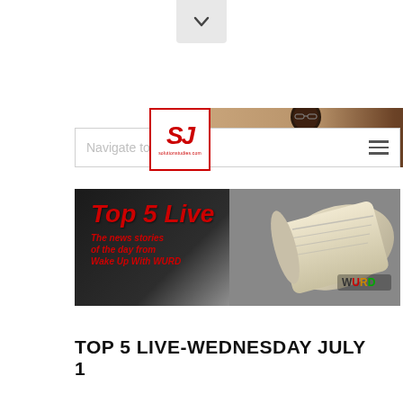[Figure (screenshot): Chevron/down-arrow button at top center of page]
[Figure (logo): SJ logo banner with person in background - solutionstudies.com]
[Figure (screenshot): Navigation bar with 'Navigate to...' text and hamburger menu icon]
[Figure (photo): Top 5 Live promotional banner - The news stories of the day from Wake Up With WURD, with newspaper image and WURD logo]
TOP 5 LIVE-WEDNESDAY JULY 1